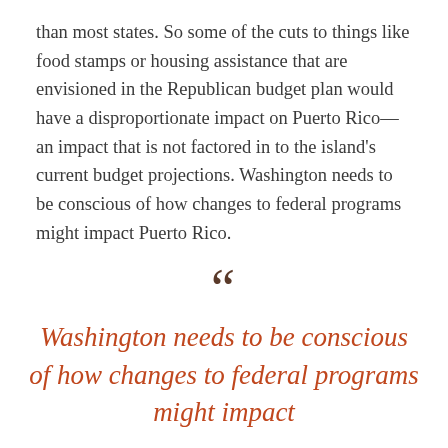than most states. So some of the cuts to things like food stamps or housing assistance that are envisioned in the Republican budget plan would have a disproportionate impact on Puerto Rico—an impact that is not factored in to the island's current budget projections. Washington needs to be conscious of how changes to federal programs might impact Puerto Rico.
“Washington needs to be conscious of how changes to federal programs might impact